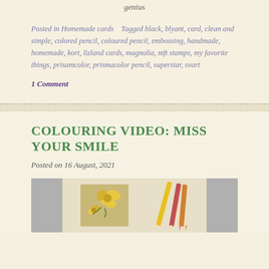genius
Posted in Homemade cards   Tagged black, blyant, card, clean and simple, colored pencil, coloured pencil, embossing, handmade, homemade, kort, lizland cards, magnolia, mft stamps, my favorite things, prisamcolor, prismacolor pencil, superstar, svart
1 Comment
COLOURING VIDEO: MISS YOUR SMILE
Posted on 16 August, 2021
[Figure (photo): Photo showing colored pencils and a handmade card with flowers on a white background, with gray side panels.]